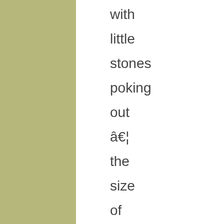with little stones poking out … the size of marbles. I remembered these from 2006. They weren't cause for too much concern.